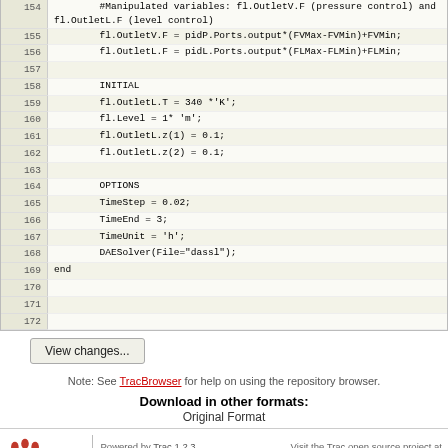| line | code |
| --- | --- |
| 154 |         #Manipulated variables: fl.OutletV.F (pressure control) and fl.OutletL.F (level control) |
| 155 |         fl.OutletV.F = pidP.Ports.output*(FVMax-FVMin)+FVMin; |
| 156 |         fl.OutletL.F = pidL.Ports.output*(FLMax-FLMin)+FLMin; |
| 157 |  |
| 158 |         INITIAL |
| 159 |         fl.OutletL.T = 340 *'K'; |
| 160 |         fl.Level = 1* 'm'; |
| 161 |         fl.OutletL.z(1) = 0.1; |
| 162 |         fl.OutletL.z(2) = 0.1; |
| 163 |  |
| 164 |         OPTIONS |
| 165 |         TimeStep = 0.02; |
| 166 |         TimeEnd = 3; |
| 167 |         TimeUnit = 'h'; |
| 168 |         DAESolver(File="dassl"); |
| 169 | end |
| 170 |  |
| 171 |  |
| 172 |  |
View changes...
Note: See TracBrowser for help on using the repository browser.
Download in other formats:
Original Format
Powered by Trac 1.2.3 By Edgewall Software. Visit the Trac open source project at http://trac.edgewall.org/